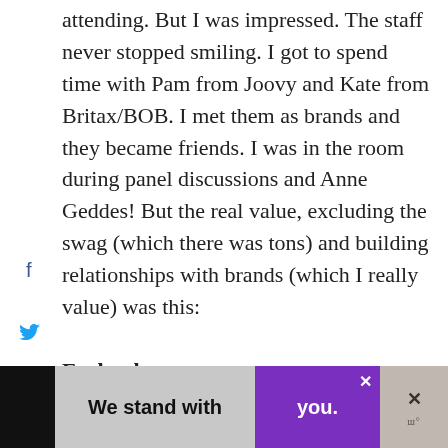attending. But I was impressed. The staff never stopped smiling. I got to spend time with Pam from Joovy and Kate from Britax/BOB. I met them as brands and they became friends. I was in the room during panel discussions and Anne Geddes! But the real value, excluding the swag (which there was tons) and building relationships with brands (which I really value) was this:
Each other.
Pl...
[Figure (infographic): Advertisement banner at bottom: 'We stand with you.' on gray and purple background with close buttons]